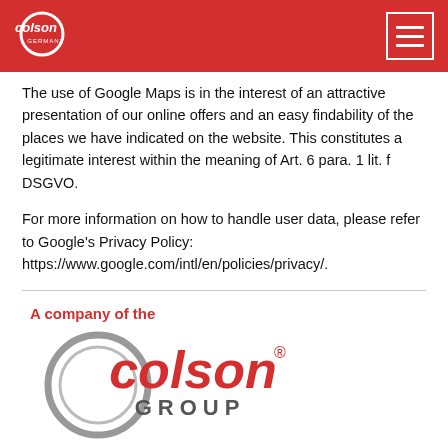[Figure (logo): Colson Germany logo in white on red header background, with hamburger menu button]
The use of Google Maps is in the interest of an attractive presentation of our online offers and an easy findability of the places we have indicated on the website. This constitutes a legitimate interest within the meaning of Art. 6 para. 1 lit. f DSGVO.
For more information on how to handle user data, please refer to Google's Privacy Policy: https://www.google.com/intl/en/policies/privacy/.
A company of the
[Figure (logo): Colson Group logo — red italic 'colson' text with registered trademark symbol and grey 'GROUP' text inside a grey circular arc]